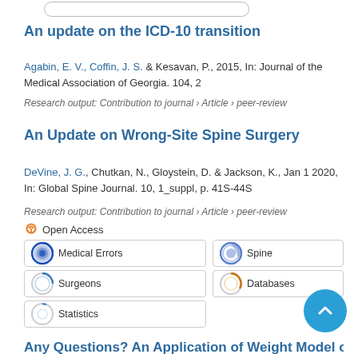An update on the ICD-10 transition
Agabin, E. V., Coffin, J. S. & Kesavan, P., 2015, In: Journal of the Medical Association of Georgia. 104, 2
Research output: Contribution to journal › Article › peer-review
An Update on Wrong-Site Spine Surgery
DeVine, J. G., Chutkan, N., Gloystein, D. & Jackson, K., Jan 1 2020, In: Global Spine Journal. 10, 1_suppl, p. 41S-44S
Research output: Contribution to journal › Article › peer-review
Open Access
Medical Errors
Spine
Surgeons
Databases
Statistics
Any Questions? An Application of Weight Model of...